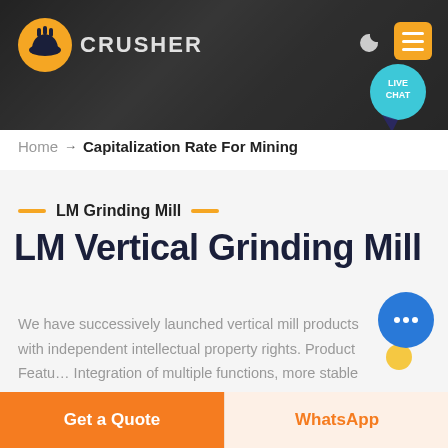CRUSHER — navigation header with logo, moon icon, menu button, live chat bubble
Home → Capitalization Rate For Mining
LM Grinding Mill
LM Vertical Grinding Mill
We have successively launched vertical mill products with independent intellectual property rights. Product Features: Integration of multiple functions, more stable and reliable production and more excellent capacity
Get a Quote
WhatsApp